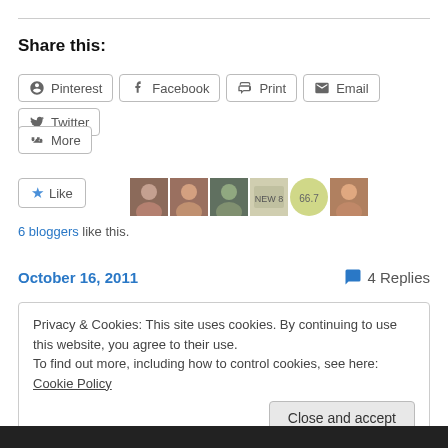Share this:
Pinterest  Facebook  Print  Email  Twitter
More
Like
[Figure (photo): Row of 6 blogger avatar images]
6 bloggers like this.
October 16, 2011   4 Replies
Privacy & Cookies: This site uses cookies. By continuing to use this website, you agree to their use. To find out more, including how to control cookies, see here: Cookie Policy  Close and accept